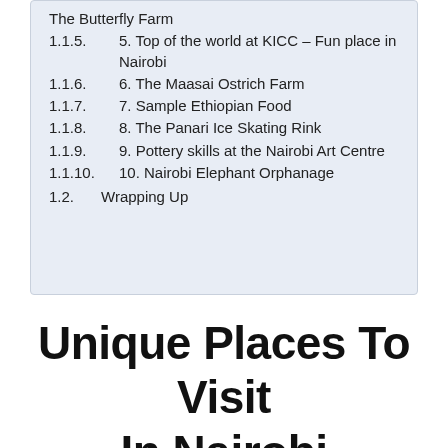The Butterfly Farm
1.1.5. 5. Top of the world at KICC – Fun place in Nairobi
1.1.6. 6. The Maasai Ostrich Farm
1.1.7. 7. Sample Ethiopian Food
1.1.8. 8. The Panari Ice Skating Rink
1.1.9. 9. Pottery skills at the Nairobi Art Centre
1.1.10. 10. Nairobi Elephant Orphanage
1.2. Wrapping Up
Unique Places To Visit In Nairobi